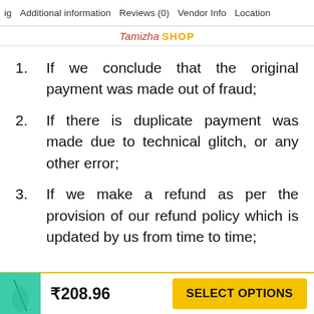ig  Additional information  Reviews (0)  Vendor Info  Location
Tamizha SHOP
If we conclude that the original payment was made out of fraud;
If there is duplicate payment was made due to technical glitch, or any other error;
If we make a refund as per the provision of our refund policy which is updated by us from time to time;
₹208.96  SELECT OPTIONS